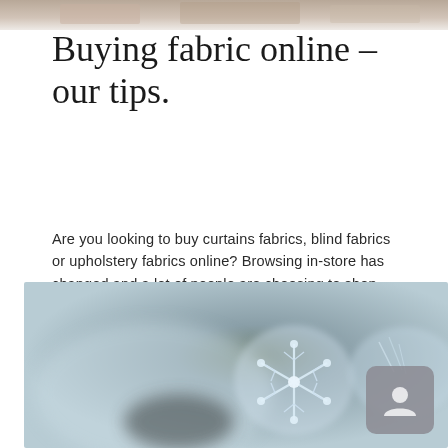[Figure (photo): Partially visible storefront or fabric shop interior image cropped at top of page]
Buying fabric online – our tips.
Are you looking to buy curtains fabrics, blind fabrics or upholstery fabrics online? Browsing in-store has changed and a lot of people are choosing to shop online. We've
Read more >
[Figure (photo): Close-up macro photograph of a snowflake crystal against a blurred blue-grey background]